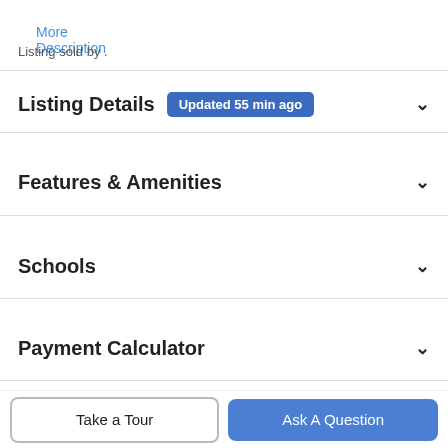More Description
Listing sold by .
Listing Details  Updated 55 min ago
Features & Amenities
Schools
Payment Calculator
Contact Agent
Take a Tour
Ask A Question